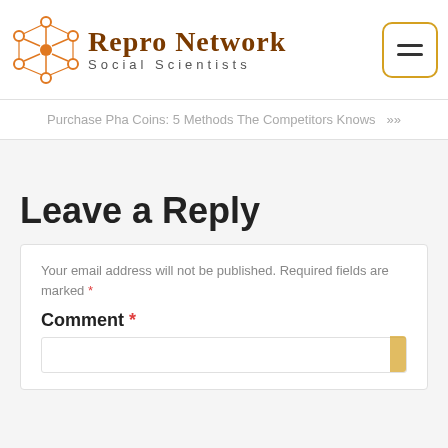[Figure (logo): Repro Network Social Scientists logo with orange geometric network icon and text]
Purchase Pha Coins: 5 Methods The Competitors Knows >>
Leave a Reply
Your email address will not be published. Required fields are marked *
Comment *